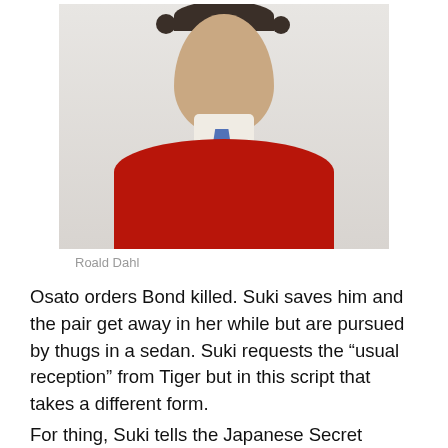[Figure (photo): Portrait photograph of Roald Dahl, a middle-aged man with thinning dark hair, wearing a red sweater over a white collar shirt with a blue tie, looking slightly to the side with a faint smile.]
Roald Dahl
Osato orders Bond killed. Suki saves him and the pair get away in her while but are pursued by thugs in a sedan. Suki requests the “usual reception” from Tiger but in this script that takes a different form.
For thing, Suki tells the Japanese Secret Service chief that